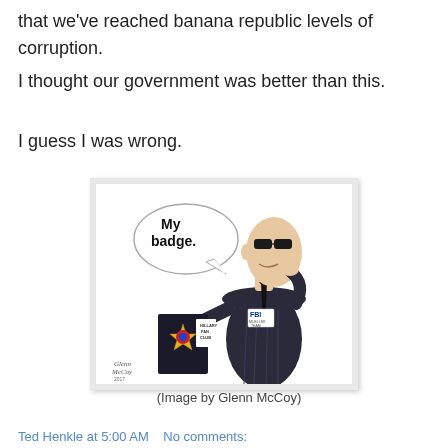that we've reached banana republic levels of corruption.
I thought our government was better than this.
I guess I was wrong.
[Figure (illustration): Political cartoon by Glenn McCoy showing an FBI agent in a dark suit holding up a 'Hillary Fan Club' card as his badge, with a speech bubble saying 'My badge.' The agent has an FBI badge/ID on his lapel.]
(Image by Glenn McCoy)
Ted Henkle at 5:00 AM    No comments: